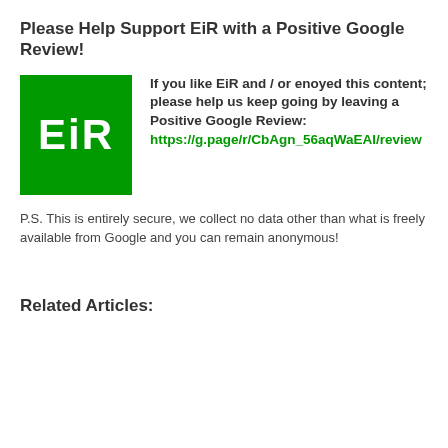Please Help Support EiR with a Positive Google Review!
[Figure (logo): EiR logo: white text 'EiR' on a solid green square background]
If you like EiR and / or enoyed this content; please help us keep going by leaving a Positive Google Review: https://g.page/r/CbAgn_56aqWaEAI/review
P.S. This is entirely secure, we collect no data other than what is freely available from Google and you can remain anonymous!
Related Articles: